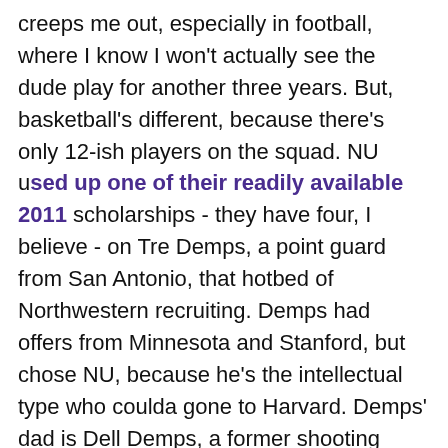creeps me out, especially in football, where I know I won't actually see the dude play for another three years. But, basketball's different, because there's only 12-ish players on the squad. NU used up one of their readily available 2011 scholarships - they have four, I believe - on Tre Demps, a point guard from San Antonio, that hotbed of Northwestern recruiting. Demps had offers from Minnesota and Stanford, but chose NU, because he's the intellectual type who coulda gone to Harvard. Demps' dad is Dell Demps, a former shooting guard from the University of the Pacific who had a cup of coffee in the NBA over the course of three years, and I've never heard of him, although he's apparently quite a big figure in the front office world working as an assistant GM to R.C. Buford in San Antonio, and is one of the most admired...